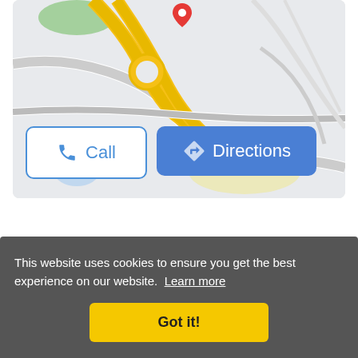[Figure (map): Google Maps screenshot showing road network with a red location pin marker, yellow highways and road intersections on a light grey map background, with 'Call' and 'Directions' action buttons overlaid at the bottom of the map]
Terms of Service | Privacy Policy | DMCA Notice | Removal Request | Disclaimer |
Contact Us
Copyright © 2020 Universitypage All rights reserved.
Back to top
This website uses cookies to ensure you get the best experience on our website. Learn more
Got it!